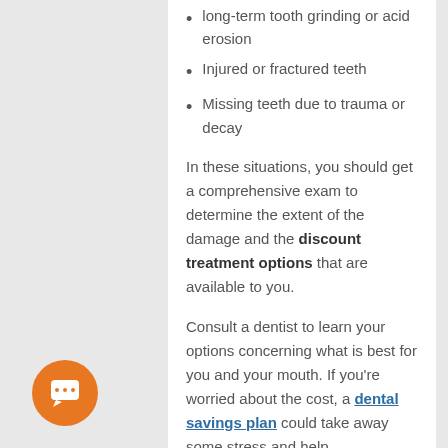long-term tooth grinding or acid erosion
Injured or fractured teeth
Missing teeth due to trauma or decay
In these situations, you should get a comprehensive exam to determine the extent of the damage and the discount treatment options that are available to you.
Consult a dentist to learn your options concerning what is best for you and your mouth. If you're worried about the cost, a dental savings plan could take away some stress and help